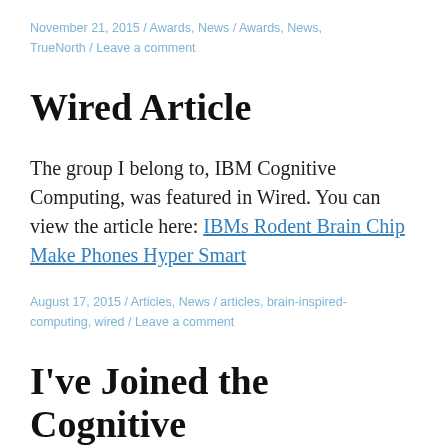November 21, 2015 / Awards, News / Awards, News, TrueNorth / Leave a comment
Wired Article
The group I belong to, IBM Cognitive Computing, was featured in Wired. You can view the article here: IBMs Rodent Brain Chip Make Phones Hyper Smart
August 17, 2015 / Articles, News / articles, brain-inspired-computing, wired / Leave a comment
I've Joined the Cognitive